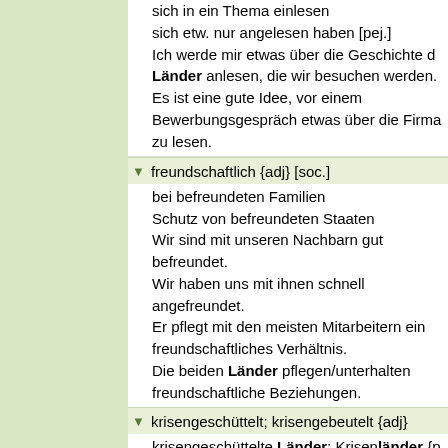sich in ein Thema einlesen
sich etw. nur angelesen haben [pej.]
Ich werde mir etwas über die Geschichte d... Länder anlesen, die wir besuchen werden.
Es ist eine gute Idee, vor einem Bewerbungsgespräch etwas über die Firma... zu lesen.
freundschaftlich {adj} [soc.]
bei befreundeten Familien
Schutz von befreundeten Staaten
Wir sind mit unseren Nachbarn gut befreundet.
Wir haben uns mit ihnen schnell angefreundet.
Er pflegt mit den meisten Mitarbeitern ein freundschaftliches Verhältnis.
Die beiden Länder pflegen/unterhalten freundschaftliche Beziehungen.
krisengeschüttelt; krisengebeutelt {adj}
krisengeschüttelte Länder; Krisenländer {p...
von Land umschlossen {adj} [geogr.]
küstenferne Länder
von Land umschlossene Gewässer
auf etw. neugierig; gespannt sein {v}
auf den Ausgang von etw. gespannt sein
Die meisten Leute sind neugierig auf ander... Länder...